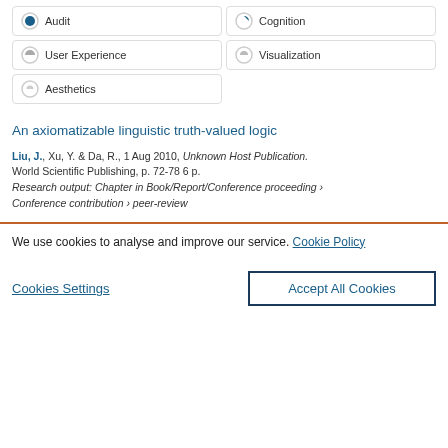Audit
Cognition
User Experience
Visualization
Aesthetics
An axiomatizable linguistic truth-valued logic
Liu, J., Xu, Y. & Da, R., 1 Aug 2010, Unknown Host Publication. World Scientific Publishing, p. 72-78 6 p. Research output: Chapter in Book/Report/Conference proceeding › Conference contribution › peer-review
We use cookies to analyse and improve our service. Cookie Policy
Cookies Settings
Accept All Cookies